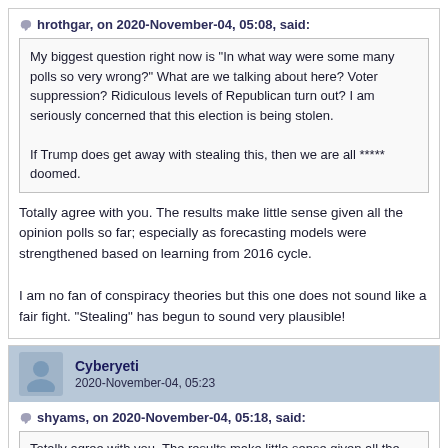hrothgar, on 2020-November-04, 05:08, said:
My biggest question right now is "In what way were some many polls so very wrong?" What are we talking about here? Voter suppression? Ridiculous levels of Republican turn out? I am seriously concerned that this election is being stolen.

If Trump does get away with stealing this, then we are all ***** doomed.
Totally agree with you. The results make little sense given all the opinion polls so far; especially as forecasting models were strengthened based on learning from 2016 cycle.

I am no fan of conspiracy theories but this one does not sound like a fair fight. "Stealing" has begun to sound very plausible!
Cyberyeti
2020-November-04, 05:23
shyams, on 2020-November-04, 05:18, said:
Totally agree with you. The results make little sense given all the opinion